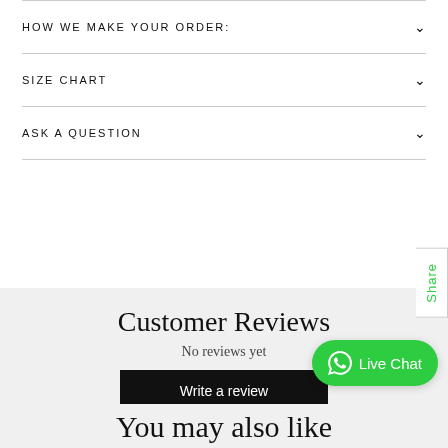HOW WE MAKE YOUR ORDER:
SIZE CHART
ASK A QUESTION
Customer Reviews
No reviews yet
Write a review
[Figure (other): Live Chat WhatsApp button]
You may also like